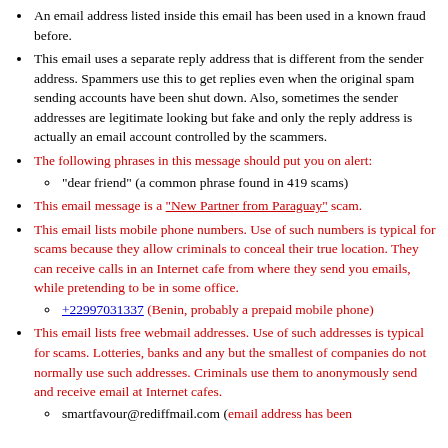An email address listed inside this email has been used in a known fraud before.
This email uses a separate reply address that is different from the sender address. Spammers use this to get replies even when the original spam sending accounts have been shut down. Also, sometimes the sender addresses are legitimate looking but fake and only the reply address is actually an email account controlled by the scammers.
The following phrases in this message should put you on alert: [sub] "dear friend" (a common phrase found in 419 scams)
This email message is a "New Partner from Paraguay" scam.
This email lists mobile phone numbers. Use of such numbers is typical for scams because they allow criminals to conceal their true location. They can receive calls in an Internet cafe from where they send you emails, while pretending to be in some office. [sub] +22997031337 (Benin, probably a prepaid mobile phone)
This email lists free webmail addresses. Use of such addresses is typical for scams. Lotteries, banks and any but the smallest of companies do not normally use such addresses. Criminals use them to anonymously send and receive email at Internet cafes. [sub] smartfavour@rediffmail.com (email address has been